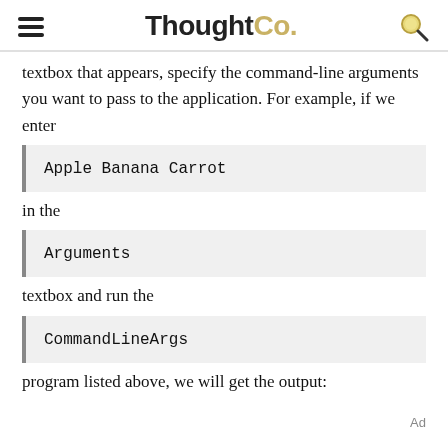ThoughtCo.
textbox that appears, specify the command-line arguments you want to pass to the application. For example, if we enter
Apple Banana Carrot
in the
Arguments
textbox and run the
CommandLineArgs
program listed above, we will get the output:
Ad